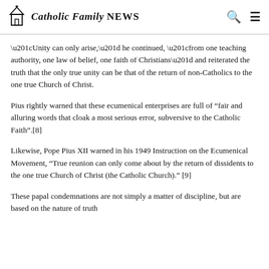Catholic Family NEWS
“Unity can only arise,” he continued, “from one teaching authority, one law of belief, one faith of Christians” and reiterated the truth that the only true unity can be that of the return of non-Catholics to the one true Church of Christ.
Pius rightly warned that these ecumenical enterprises are full of “fair and alluring words that cloak a most serious error, subversive to the Catholic Faith”.[8]
Likewise, Pope Pius XII warned in his 1949 Instruction on the Ecumenical Movement, “True reunion can only come about by the return of dissidents to the one true Church of Christ (the Catholic Church).” [9]
These papal condemnations are not simply a matter of discipline, but are based on the nature of truth